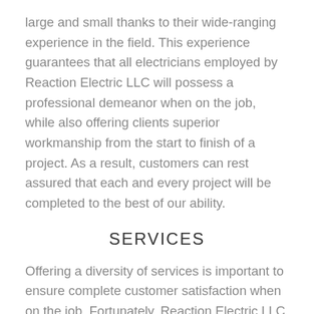large and small thanks to their wide-ranging experience in the field. This experience guarantees that all electricians employed by Reaction Electric LLC will possess a professional demeanor when on the job, while also offering clients superior workmanship from the start to finish of a project. As a result, customers can rest assured that each and every project will be completed to the best of our ability.
SERVICES
Offering a diversity of services is important to ensure complete customer satisfaction when on the job. Fortunately, Reaction Electric LLC can offer a range of important electrical services to the Fort Smith area. These include: